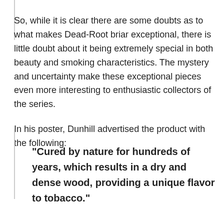So, while it is clear there are some doubts as to what makes Dead-Root briar exceptional, there is little doubt about it being extremely special in both beauty and smoking characteristics. The mystery and uncertainty make these exceptional pieces even more interesting to enthusiastic collectors of the series.
In his poster, Dunhill advertised the product with the following:
"Cured by nature for hundreds of years, which results in a dry and dense wood, providing a unique flavor to tobacco."